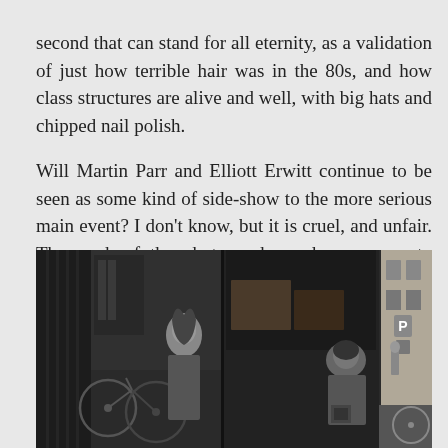second that can stand for all eternity, as a validation of just how terrible hair was in the 80s, and how class structures are alive and well, with big hats and chipped nail polish.

Will Martin Parr and Elliott Erwitt continue to be seen as some kind of side-show to the more serious main event? I don't know, but it is cruel, and unfair. The work of the photographer, who manages to consistently find the fun in our daily lives, in an unencumbered way, must surely be cherished.
[Figure (photo): Black and white photograph showing a street scene with a delivery truck open at the back; a woman with long hair is visible on the left side, a person crouching near the truck in the middle, and a narrow alley with bicycles and a parking sign on the right.]